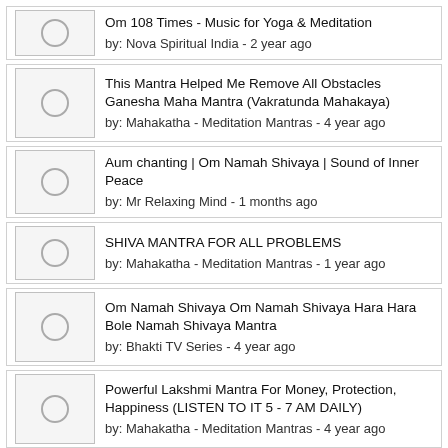Om 108 Times - Music for Yoga & Meditation
by: Nova Spiritual India - 2 year ago
This Mantra Helped Me Remove All Obstacles Ganesha Maha Mantra (Vakratunda Mahakaya)
by: Mahakatha - Meditation Mantras - 4 year ago
Aum chanting | Om Namah Shivaya | Sound of Inner Peace
by: Mr Relaxing Mind - 1 months ago
SHIVA MANTRA FOR ALL PROBLEMS
by: Mahakatha - Meditation Mantras - 1 year ago
Om Namah Shivaya Om Namah Shivaya Hara Hara Bole Namah Shivaya Mantra
by: Bhakti TV Series - 4 year ago
Powerful Lakshmi Mantra For Money, Protection, Happiness (LISTEN TO IT 5 - 7 AM DAILY)
by: Mahakatha - Meditation Mantras - 4 year ago
Om Meditation Music | Relaxing Music | Deep Sleep